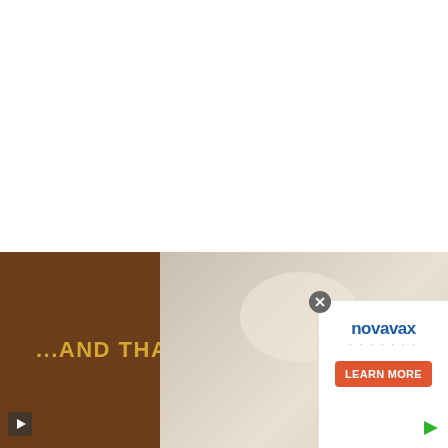8. Stir and mix very well and saute the tomatoes on low to medium-low heat till they
[Figure (photo): Screenshot of a recipe webpage showing step 8 with food photo strip at bottom reading '...AND THAT', with UI elements: upvote button (513), heart/save button, green circle button, and a Novavax advertisement with Learn More button on the right side panel.]